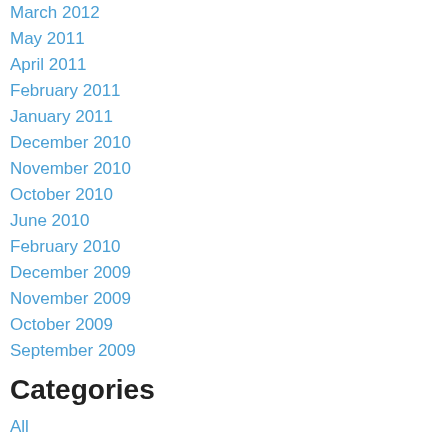March 2012
May 2011
April 2011
February 2011
January 2011
December 2010
November 2010
October 2010
June 2010
February 2010
December 2009
November 2009
October 2009
September 2009
Categories
All
Backpack
Backpacks
Back Pain
Car Accident